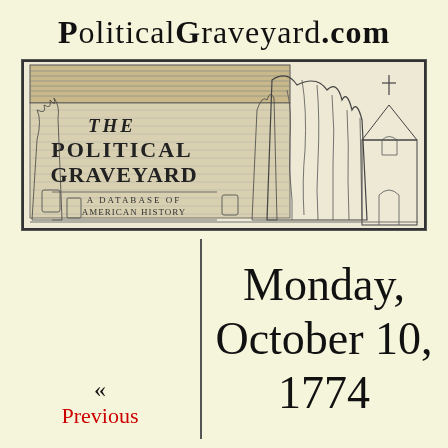PoliticalGraveyard.com
[Figure (illustration): Banner illustration for The Political Graveyard website showing a graveyard scene with tombstones, a cloaked figure, trees, a Gothic church, and text reading 'The Political Graveyard – A Database of American History']
Monday, October 10, 1774
« Previous